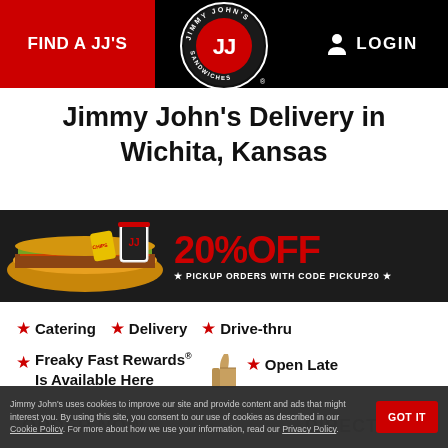FIND A JJ'S  |  [Jimmy John's logo]  |  LOGIN
Jimmy John's Delivery in Wichita, Kansas
[Figure (infographic): Promotional banner showing Jimmy John's sandwiches with text '20% OFF * PICKUP ORDERS WITH CODE PICKUP20 *']
★ Catering  ★ Delivery  ★ Drive-thru
★ Freaky Fast Rewards® Is Available Here  👍  ★ Open Late
Jimmy John's uses cookies to improve our site and provide content and ads that might interest you. By using this site, you consent to our use of cookies as described in our Cookie Policy. For more about how we use your information, read our Privacy Policy.
ORDER NOW   DIRECTIONS